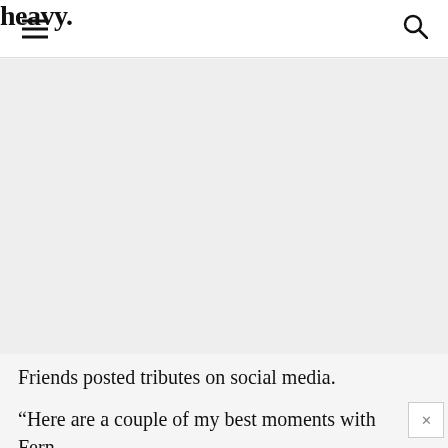heavy.
[Figure (other): Advertisement / gray placeholder area]
Friends posted tributes on social media.
“Here are a couple of my best moments with Fern Feather,” wrote one friend, continuing: